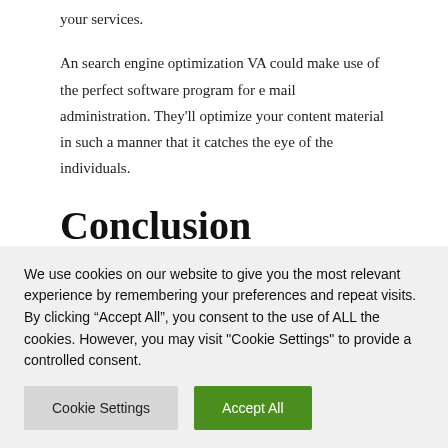your services.
An search engine optimization VA could make use of the perfect software program for e mail administration. They'll optimize your content material in such a manner that it catches the eye of the individuals.
Conclusion
Finally we might say that search engine optimization
We use cookies on our website to give you the most relevant experience by remembering your preferences and repeat visits. By clicking “Accept All”, you consent to the use of ALL the cookies. However, you may visit "Cookie Settings" to provide a controlled consent.